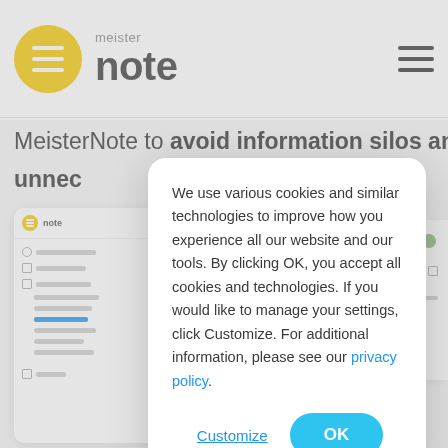[Figure (screenshot): MeisterNote app header with yellow circular logo, brand name 'meister note', and hamburger menu icon on the right]
MeisterNote to avoid information silos and unnec
[Figure (screenshot): MeisterNote app interface preview showing sidebar with notes list]
We use various cookies and similar technologies to improve how you experience all our website and our tools. By clicking OK, you accept all cookies and technologies. If you would like to manage your settings, click Customize. For additional information, please see our privacy policy.
Customize
OK